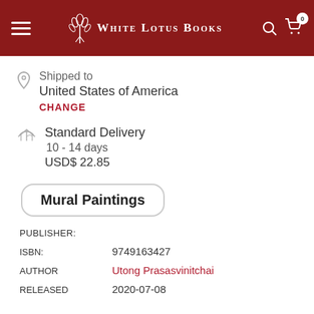White Lotus Books
Shipped to
United States of America
CHANGE
Standard Delivery
10 - 14 days
USD$ 22.85
Mural Paintings
PUBLISHER:
ISBN:    9749163427
AUTHOR    Utong Prasasvinitchai
RELEASED    2020-07-08